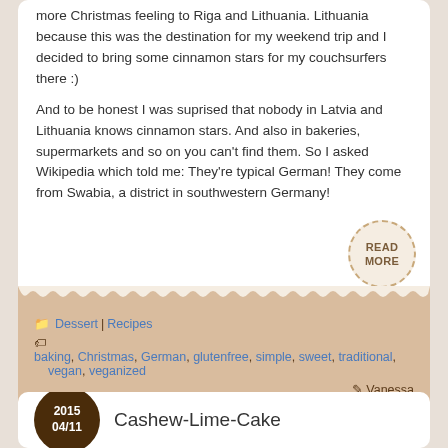more Christmas feeling to Riga and Lithuania. Lithuania because this was the destination for my weekend trip and I decided to bring some cinnamon stars for my couchsurfers there :)
And to be honest I was suprised that nobody in Latvia and Lithuania knows cinnamon stars. And also in bakeries, supermarkets and so on you can't find them. So I asked Wikipedia which told me: They're typical German! They come from Swabia, a district in southwestern Germany!
[Figure (other): READ MORE circular button with dashed border]
Dessert | Recipes
baking, Christmas, German, glutenfree, simple, sweet, traditional, vegan, veganized
Vanessa
Cashew-Lime-Cake